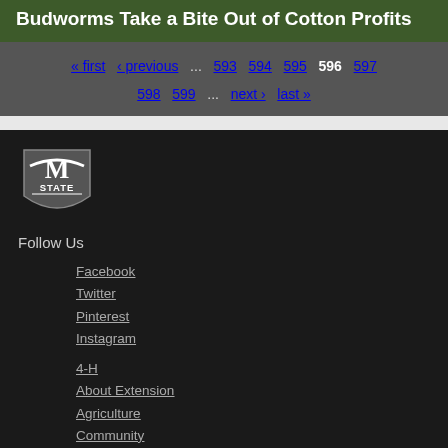Budworms Take a Bite Out of Cotton Profits
« first  ‹ previous  …  593  594  595  596  597  598  599  …  next ›  last »
[Figure (logo): Mississippi State University M-STATE shield logo in white on dark background]
Follow Us
Facebook
Twitter
Pinterest
Instagram
4-H
About Extension
Agriculture
Community
Family
Food and Health
Insects
Lawn and Garden